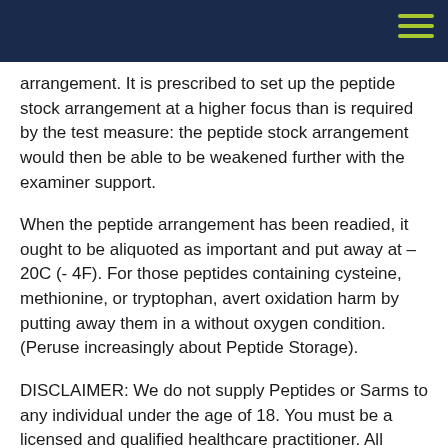arrangement. It is prescribed to set up the peptide stock arrangement at a higher focus than is required by the test measure: the peptide stock arrangement would then be able to be weakened further with the examiner support.
When the peptide arrangement has been readied, it ought to be aliquoted as important and put away at – 20C (- 4F). For those peptides containing cysteine, methionine, or tryptophan, avert oxidation harm by putting away them in a without oxygen condition. (Peruse increasingly about Peptide Storage).
DISCLAIMER: We do not supply Peptides or Sarms to any individual under the age of 18. You must be a licensed and qualified healthcare practitioner. All products listed on this website (https://pharmagrade.store) and provided through Pharmagrade are intended ONLY FOR medical research and development use.